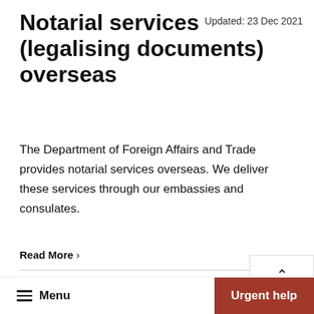Notarial services (legalising documents) overseas
Updated: 23 Dec 2021
The Department of Foreign Affairs and Trade provides notarial services overseas. We deliver these services through our embassies and consulates.
Read More ›
Fact sheet: Arrested or jailed overseas
Updated: 13 Dec 2019
Menu
Urgent help